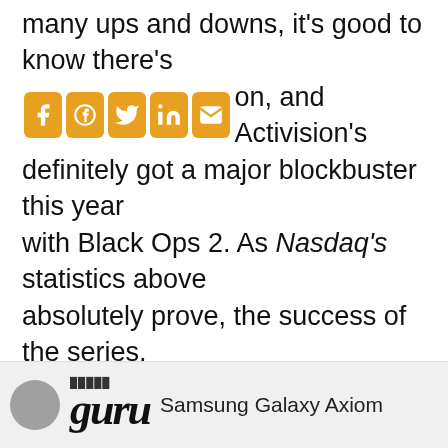many ups and downs, it's good to know there's a place you can count on, and Activision's definitely got a major blockbuster this year with Black Ops 2. As Nasdaq's statistics above absolutely prove, the success of the series, and the loyalty of the fans towards it, is definitely no fluke.
ENTERTAINMENT
entertainment
[Figure (other): Partial view of a website footer showing a circular avatar, stylized 'guru' text logo, and the text 'Samsung Galaxy Axiom']